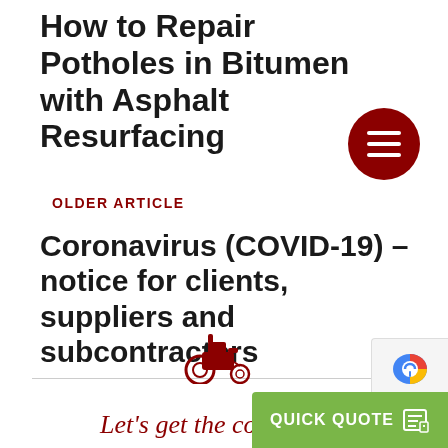How to Repair Potholes in Bitumen with Asphalt Resurfacing
OLDER ARTICLE
Coronavirus (COVID-19) – notice for clients, suppliers and subcontractors
[Figure (illustration): Red tractor icon and cursive script text reading 'Let's get the compact...' with a green Quick Quote button and reCAPTCHA badge in the bottom corner]